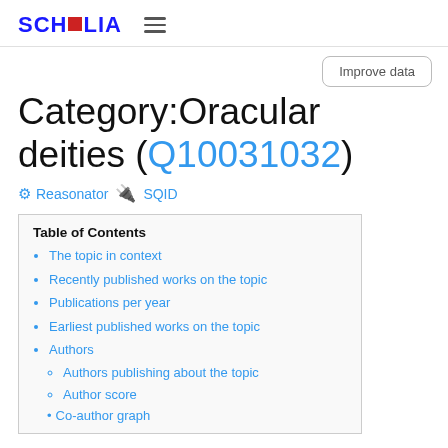SCHOLIA
Improve data
Category:Oracular deities (Q10031032)
⚙ Reasonator 🔌 SQID
Table of Contents
The topic in context
Recently published works on the topic
Publications per year
Earliest published works on the topic
Authors
Authors publishing about the topic
Author score
Co-author graph